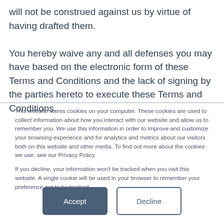will not be construed against us by virtue of having drafted them.

You hereby waive any and all defenses you may have based on the electronic form of these Terms and Conditions and the lack of signing by the parties hereto to execute these Terms and Conditions.
This website stores cookies on your computer. These cookies are used to collect information about how you interact with our website and allow us to remember you. We use this information in order to improve and customize your browsing experience and for analytics and metrics about our visitors both on this website and other media. To find out more about the cookies we use, see our Privacy Policy
If you decline, your information won't be tracked when you visit this website. A single cookie will be used in your browser to remember your preference not to be tracked.